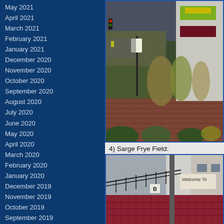May 2021
April 2021
March 2021
February 2021
January 2021
December 2020
November 2020
October 2020
September 2020
August 2020
July 2020
June 2020
May 2020
April 2020
March 2020
February 2020
January 2020
December 2019
November 2019
October 2019
September 2019
August 2019
July 2019
June 2019
May 2019
April 2019
March 2019
[Figure (photo): Photo of a sign/entrance area with brick landscaping, ornamental grasses, and colored panels on a building wall (green/yellow and dark red rectangles). Street visible in background.]
4) Sarge Frye Field:
[Figure (photo): Photo of Sarge Frye Field showing stadium seating with maroon/red seats, a concrete structure with a 'B' marker, and a 'Welcome To' sign visible on the building facade.]